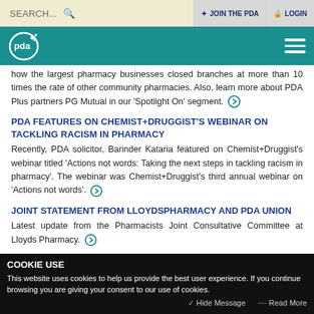SEARCH... | JOIN THE PDA | LOGIN
[Figure (logo): PDA logo on teal navigation bar with hamburger menu icon]
how the largest pharmacy businesses closed branches at more than 10 times the rate of other community pharmacies. Also, learn more about PDA Plus partners PG Mutual in our 'Spotlight On' segment.
PDA FEATURES ON CHEMIST+DRUGGIST'S WEBINAR ON TACKLING RACISM IN PHARMACY
Recently, PDA solicitor, Barinder Kataria featured on Chemist+Druggist's webinar titled 'Actions not words: Taking the next steps in tackling racism in pharmacy'. The webinar was Chemist+Druggist's third annual webinar on 'Actions not words'.
JOINT STATEMENT FROM LLOYDSPHARMACY AND PDA UNION
Latest update from the Pharmacists Joint Consultative Committee at Lloyds Pharmacy.
COOKIE USE - This website uses cookies to help us provide the best user experience. If you continue browsing you are giving your consent to our use of cookies. | Hide Message | Read More